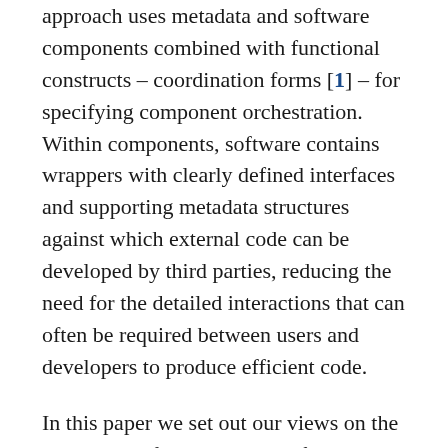approach uses metadata and software components combined with functional constructs – coordination forms [1] – for specifying component orchestration. Within components, software contains wrappers with clearly defined interfaces and supporting metadata structures against which external code can be developed by third parties, reducing the need for the detailed interactions that can often be required between users and developers to produce efficient code.
In this paper we set out our views on the challenges of ensuring ease of access to and sustainability of scientific HPC software. Our approach is based on work carried out in the libhpc project [2], which is developing a framework to provide a richer means of